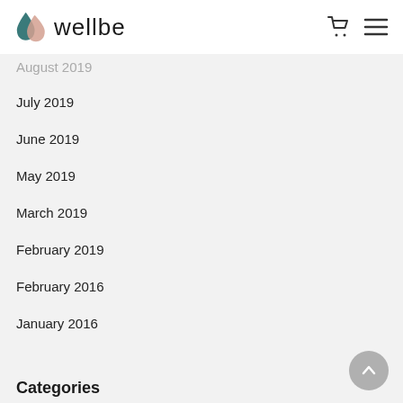wellbe
August 2019
July 2019
June 2019
May 2019
March 2019
February 2019
February 2016
January 2016
Categories